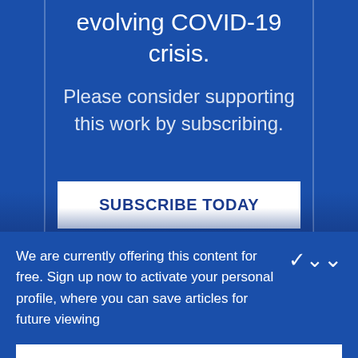evolving COVID-19 crisis.
Please consider supporting this work by subscribing.
SUBSCRIBE TODAY
We are currently offering this content for free. Sign up now to activate your personal profile, where you can save articles for future viewing
CREATE AN ACCOUNT
ALREADY A SUBSCRIBER? LOG IN